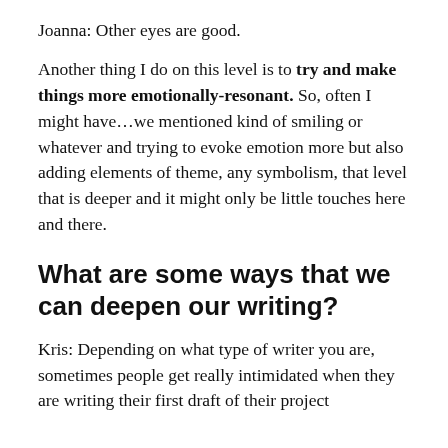Joanna: Other eyes are good.
Another thing I do on this level is to try and make things more emotionally-resonant. So, often I might have…we mentioned kind of smiling or whatever and trying to evoke emotion more but also adding elements of theme, any symbolism, that level that is deeper and it might only be little touches here and there.
What are some ways that we can deepen our writing?
Kris: Depending on what type of writer you are, sometimes people get really intimidated when they are writing their first draft of their project